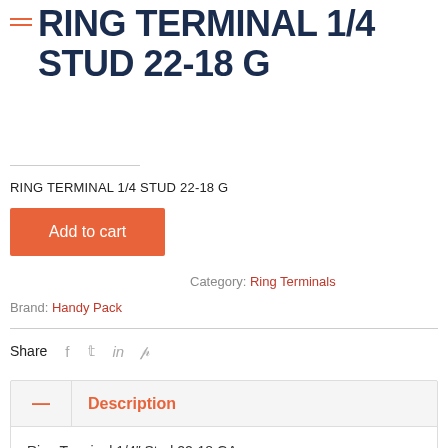RING TERMINAL 1/4 STUD 22-18 G
RING TERMINAL 1/4 STUD 22-18 G
Add to cart
SKU: BWW-HP1040   Category: Ring Terminals
Brand: Handy Pack
Share  f  t  in  p
| — | Description |
| --- | --- |
|  | Ring Terminal 1/4″ Stud 22-18 GA |